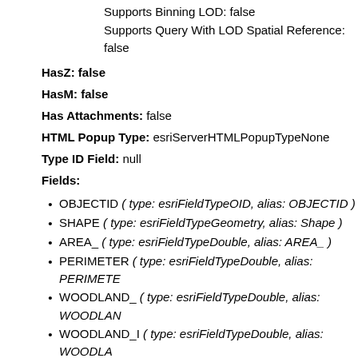Supports Binning LOD: false
Supports Query With LOD Spatial Reference: false
HasZ: false
HasM: false
Has Attachments: false
HTML Popup Type: esriServerHTMLPopupTypeNone
Type ID Field: null
Fields:
OBJECTID ( type: esriFieldTypeOID, alias: OBJECTID )
SHAPE ( type: esriFieldTypeGeometry, alias: Shape )
AREA_ ( type: esriFieldTypeDouble, alias: AREA_ )
PERIMETER ( type: esriFieldTypeDouble, alias: PERIMETER )
WOODLAND_ ( type: esriFieldTypeDouble, alias: WOODLAND_ )
WOODLAND_I ( type: esriFieldTypeDouble, alias: WOODLAND_ )
NATURE_COD ( type: esriFieldTypeSmallInteger, alias: NAT )
SHAPE_LENG ( type: esriFieldTypeDouble, alias: SHAPE_L )
ACRES ( type: esriFieldTypeDouble, alias: ACRES )
SHAPE_Length ( type: esriFieldTypeDouble, alias: SHAPE_L )
SHAPE_Area ( type: esriFieldTypeDouble, alias: SHAPE_ )